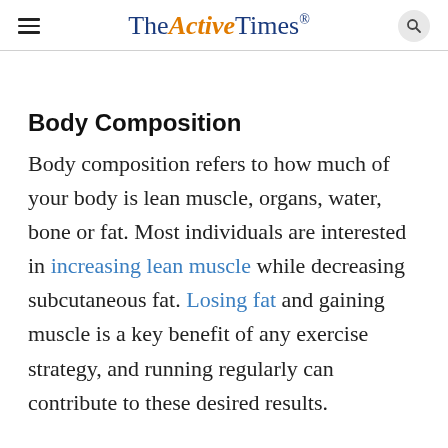TheActiveTimes
Body Composition
Body composition refers to how much of your body is lean muscle, organs, water, bone or fat. Most individuals are interested in increasing lean muscle while decreasing subcutaneous fat. Losing fat and gaining muscle is a key benefit of any exercise strategy, and running regularly can contribute to these desired results.